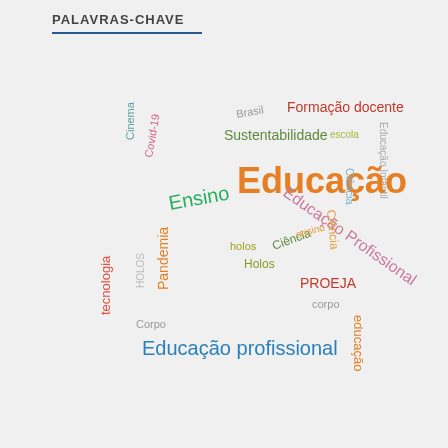PALAVRAS-CHAVE
[Figure (infographic): Word cloud in Portuguese showing education-related keywords. Largest word: Educação (orange, center). Other prominent words include: Educação Profissional (diagonal pink/mauve), Educação profissional (blue, bottom), Ensino (green), Sustentabilidade (green), Formação docente (red/pink), Pandemia (orange, vertical), tecnologia (red, vertical), Cinema (teal, vertical), Covid-19 (pink, vertical), Brasil (gray), Educação Infantil (gray, vertical), Ciência (orange, vertical), Ciência (green), holos (olive), Holos (olive), Ciência (light blue), ensino (orange), educação (orange, vertical), PROEJA (red), corpo (gray), Corpo (gray), HOLOS (gray, vertical)]